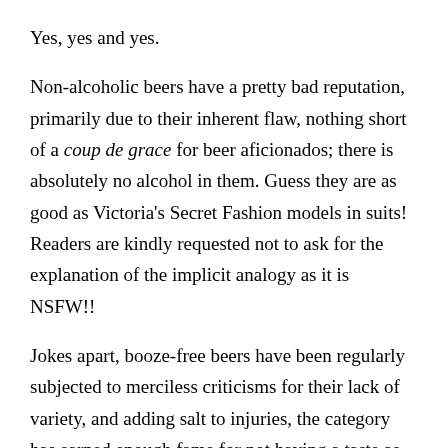Yes, yes and yes.
Non-alcoholic beers have a pretty bad reputation, primarily due to their inherent flaw, nothing short of a coup de grace for beer aficionados; there is absolutely no alcohol in them. Guess they are as good as Victoria's Secret Fashion models in suits! Readers are kindly requested not to ask for the explanation of the implicit analogy as it is NSFW!!
Jokes apart, booze-free beers have been regularly subjected to merciless criticisms for their lack of variety, and adding salt to injuries, the category has earned enough fame for not having a taste as the real beers do; instead these sissy beers are name called and known for being the copybook examples